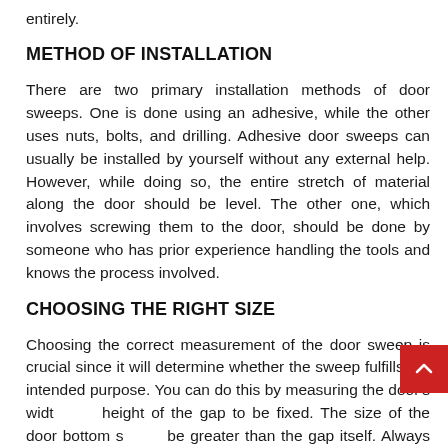entirely.
METHOD OF INSTALLATION
There are two primary installation methods of door sweeps. One is done using an adhesive, while the other uses nuts, bolts, and drilling. Adhesive door sweeps can usually be installed by yourself without any external help. However, while doing so, the entire stretch of material along the door should be level. The other one, which involves screwing them to the door, should be done by someone who has prior experience handling the tools and knows the process involved.
CHOOSING THE RIGHT SIZE
Choosing the correct measurement of the door sweep is crucial since it will determine whether the sweep fulfills the intended purpose. You can do this by measuring the door's width and height of the gap to be fixed. The size of the door bottom should be greater than the gap itself. Always buy a sweep with a more